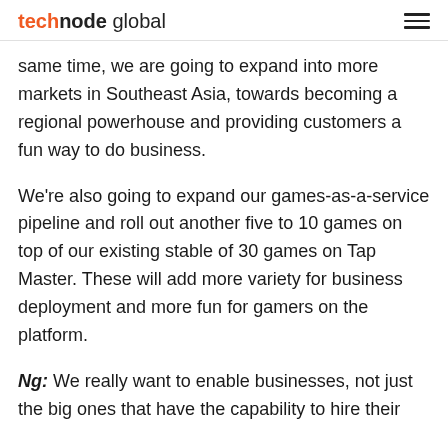technode global
same time, we are going to expand into more markets in Southeast Asia, towards becoming a regional powerhouse and providing customers a fun way to do business.
We're also going to expand our games-as-a-service pipeline and roll out another five to 10 games on top of our existing stable of 30 games on Tap Master. These will add more variety for business deployment and more fun for gamers on the platform.
Ng: We really want to enable businesses, not just the big ones that have the capability to hire their